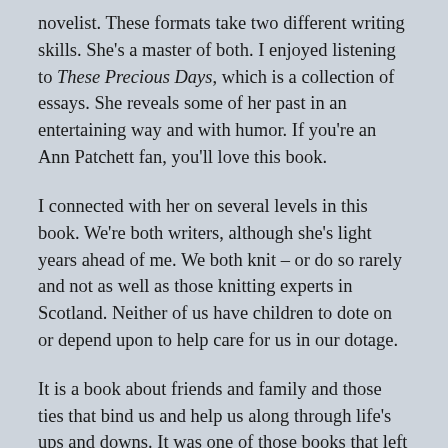novelist. These formats take two different writing skills. She's a master of both. I enjoyed listening to These Precious Days, which is a collection of essays. She reveals some of her past in an entertaining way and with humor. If you're an Ann Patchett fan, you'll love this book.
I connected with her on several levels in this book. We're both writers, although she's light years ahead of me. We both knit – or do so rarely and not as well as those knitting experts in Scotland. Neither of us have children to dote on or depend upon to help care for us in our dotage.
It is a book about friends and family and those ties that bind us and help us along through life's ups and downs. It was one of those books that left me wanting more when it ended.